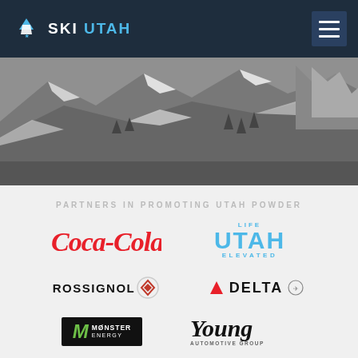SKI UTAH
[Figure (photo): Black and white aerial/panoramic photo of snowy Utah mountain terrain with rocky cliffs and ski runs]
PARTNERS IN PROMOTING UTAH POWDER
[Figure (logo): Coca-Cola logo in red script]
[Figure (logo): Life UTAH ELEVATED logo in blue]
[Figure (logo): Rossignol logo with diamond/rooster icon]
[Figure (logo): Delta airlines logo with red triangle]
[Figure (logo): Monster Energy logo on black background]
[Figure (logo): Young Automotive Group logo in black italic serif]